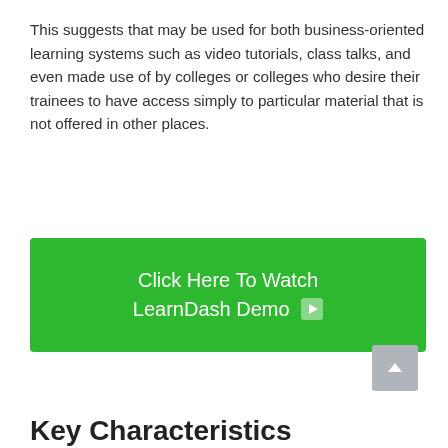This suggests that may be used for both business-oriented learning systems such as video tutorials, class talks, and even made use of by colleges or colleges who desire their trainees to have access simply to particular material that is not offered in other places.
[Figure (other): Green button reading 'Click Here To Watch LearnDash Demo' with a play icon]
Key Characteristics